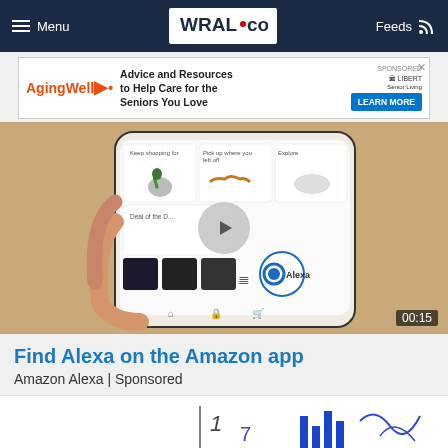Menu | WRAL.com | Feeds
[Figure (screenshot): AgingWell advertisement banner: Advice and Resources to Help Care for the Seniors You Love. LEARN MORE button. Sponsored by Liberty Senior Living.]
[Figure (screenshot): Video thumbnail showing a hand holding a smartphone with the Amazon app open showing Alexa. Video duration 00:15. Play button overlay.]
Find Alexa on the Amazon app
Amazon Alexa | Sponsored
[Figure (photo): Partial image of what appears to be a document or chart at the bottom of the page.]